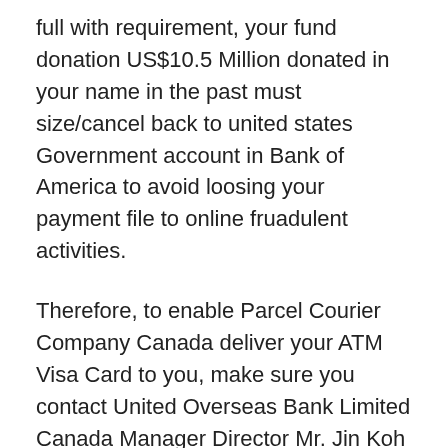full with requirement, your fund donation US$10.5 Million donated in your name in the past must size/cancel back to united states Government account in Bank of America to avoid loosing your payment file to online fruadulent activities.
Therefore, to enable Parcel Courier Company Canada deliver your ATM Visa Card to you, make sure you contact United Overseas Bank Limited Canada Manager Director Mr. Jin Koh by yourself with below information because bankers is always engaged with many customers activities and ask them to whom you will send your ATM shipment fees US$250 only needed for your